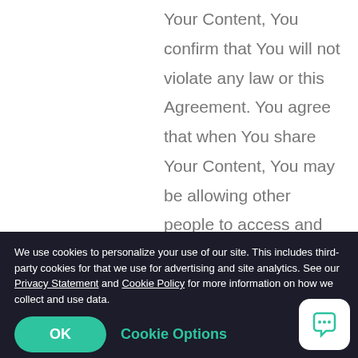Your Content, You confirm that You will not violate any law or this Agreement. You agree that when You share Your Content, You may be allowing other people to access and use Your Content in any way without further restriction or compensation to You.
1.6.2  If You use the Services to store any Personal Data, You are solely responsible for ensuring that such Personal Data is
We use cookies to personalize your use of our site. This includes third-party cookies for that we use for advertising and site analytics. See our Privacy Statement and Cookie Policy for more information on how we collect and use data.